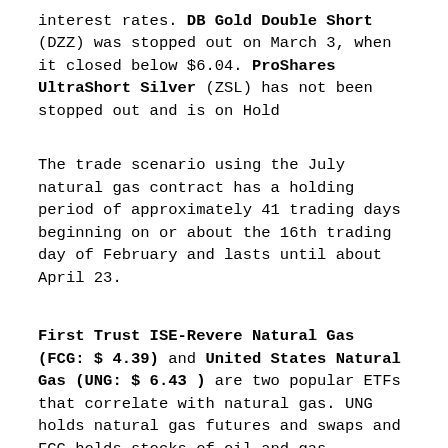interest rates. DB Gold Double Short (DZZ) was stopped out on March 3, when it closed below $6.04. ProShares UltraShort Silver (ZSL) has not been stopped out and is on Hold
The trade scenario using the July natural gas contract has a holding period of approximately 41 trading days beginning on or about the 16th trading day of February and lasts until about April 23.
First Trust ISE-Revere Natural Gas (FCG: $ 4.39) and United States Natural Gas (UNG: $ 6.43 ) are two popular ETFs that correlate with natural gas. UNG holds natural gas futures and swaps and FCG holds stocks of oil and gas producing companies that are exposed to both crude oil and natural gas prices. Similar to the performance of crude oil, shares of FCG have been declining since June